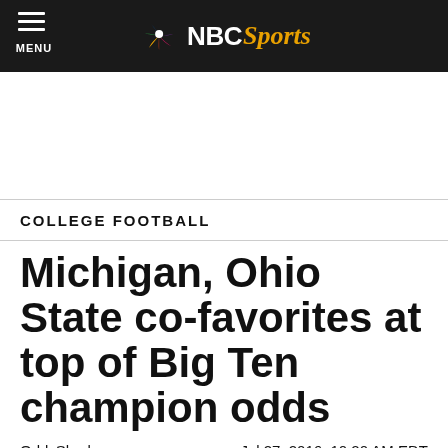NBC Sports — MENU
COLLEGE FOOTBALL
Michigan, Ohio State co-favorites at top of Big Ten champion odds
OddsShark    Jul 27, 2016, 10:20 AM EDT
[Figure (photo): Crowd of fans at a college football game, bottom strip of the page]